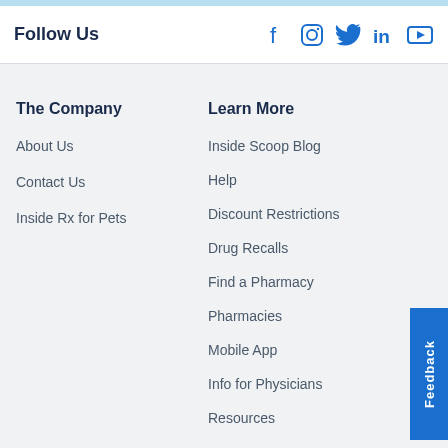Follow Us
[Figure (illustration): Social media icons: Facebook, Instagram, Twitter, LinkedIn, YouTube]
The Company
About Us
Contact Us
Inside Rx for Pets
Learn More
Inside Scoop Blog
Help
Discount Restrictions
Drug Recalls
Find a Pharmacy
Pharmacies
Mobile App
Info for Physicians
Resources